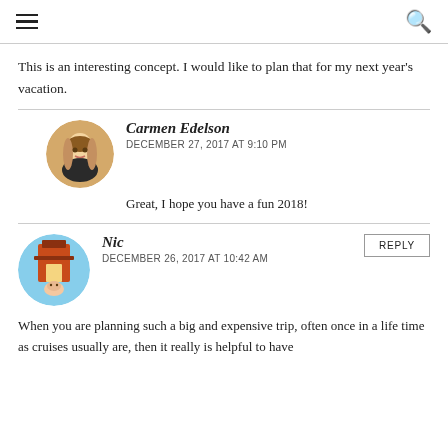≡ [hamburger menu] [search icon]
This is an interesting concept. I would like to plan that for my next year's vacation.
Carmen Edelson
DECEMBER 27, 2017 AT 9:10 PM
Great, I hope you have a fun 2018!
Nic
DECEMBER 26, 2017 AT 10:42 AM
When you are planning such a big and expensive trip, often once in a life time as cruises usually are, then it really is helpful to have